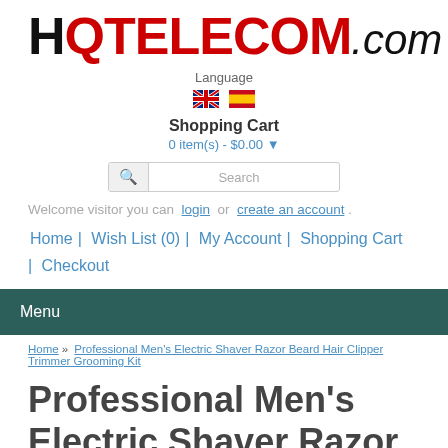[Figure (logo): HQ TELECOM.com logo — HQ in black/red bold, TELECOM in red bold, .com in italic]
Language
[Figure (illustration): UK flag and Spanish flag icons]
Shopping Cart
0 item(s) - $0.00 ▾
Search
Welcome visitor you can login or create an account .
Home | Wish List (0) | My Account | Shopping Cart | Checkout
Menu
Home » Professional Men's Electric Shaver Razor Beard Hair Clipper Trimmer Grooming Kit
Professional Men's Electric Shaver Razor Beard Hair